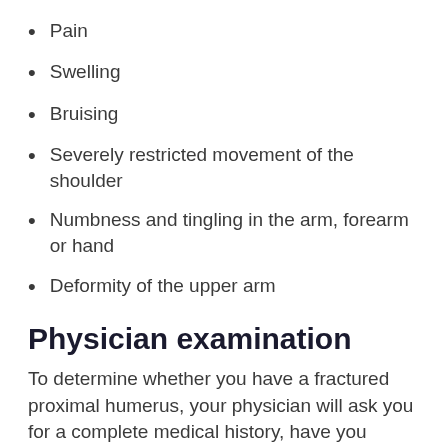Pain
Swelling
Bruising
Severely restricted movement of the shoulder
Numbness and tingling in the arm, forearm or hand
Deformity of the upper arm
Physician examination
To determine whether you have a fractured proximal humerus, your physician will ask you for a complete medical history, have you